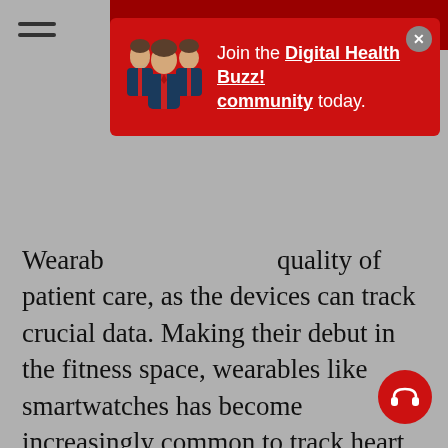[Figure (infographic): Red popup banner with group of business people icon, text 'Join the Digital Health Buzz! community today.' and a close (X) button. A hamburger menu icon appears top-left.]
Wearables [obscured by banner] quality of patient care, as the devices can track crucial data. Making their debut in the fitness space, wearables like smartwatches has become increasingly common to track heart rate, fitness levels, and even the number of steps taken each day.

It's no surprise that wearable devices in healthcare would be the next natural extension. These devices and supporting app technology allow healthcare